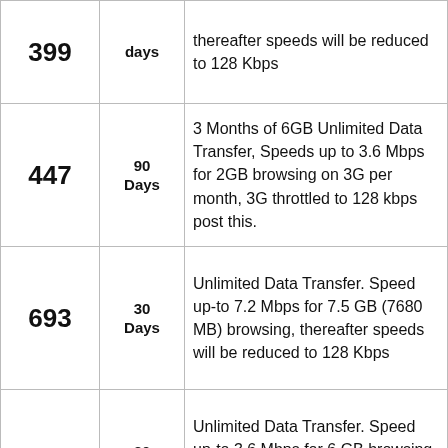| Price | Validity | Description |
| --- | --- | --- |
| 399 | days | thereafter speeds will be reduced to 128 Kbps |
| 447 | 90 Days | 3 Months of 6GB Unlimited Data Transfer, Speeds up to 3.6 Mbps for 2GB browsing on 3G per month, 3G throttled to 128 kbps post this. |
| 693 | 30 Days | Unlimited Data Transfer. Speed up-to 7.2 Mbps for 7.5 GB (7680 MB) browsing, thereafter speeds will be reduced to 128 Kbps |
| 697 | 30 days | Unlimited Data Transfer. Speed up-to 3.6 Mbps for 6 GB browsing, thereafter speeds will be reduced to 128 Kbps |
|  |  | Unlimited Data Transfer. Speed up-to |